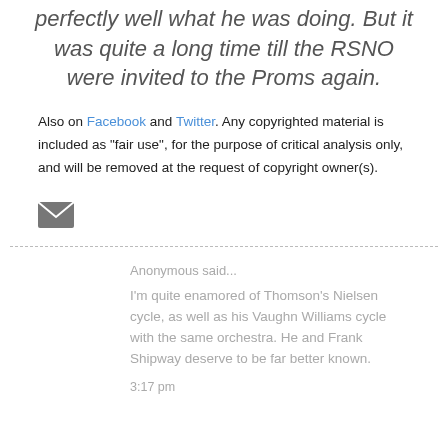perfectly well what he was doing. But it was quite a long time till the RSNO were invited to the Proms again.
Also on Facebook and Twitter. Any copyrighted material is included as "fair use", for the purpose of critical analysis only, and will be removed at the request of copyright owner(s).
[Figure (other): Email/envelope icon button]
Anonymous said...
I'm quite enamored of Thomson's Nielsen cycle, as well as his Vaughn Williams cycle with the same orchestra. He and Frank Shipway deserve to be far better known.
3:17 pm